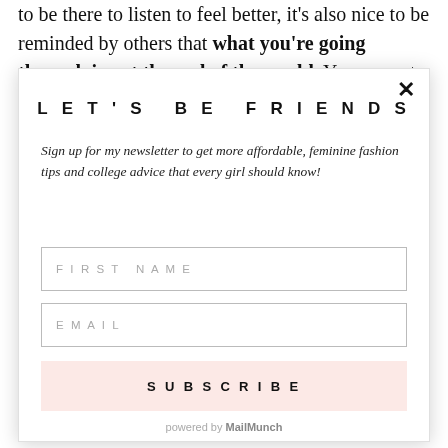to be there to listen to feel better, it's also nice to be reminded by others that what you're going through is not the end of the world. You are not alone, and
LET'S BE FRIENDS
Sign up for my newsletter to get more affordable, feminine fashion tips and college advice that every girl should know!
FIRST NAME
EMAIL
SUBSCRIBE
powered by MailMunch